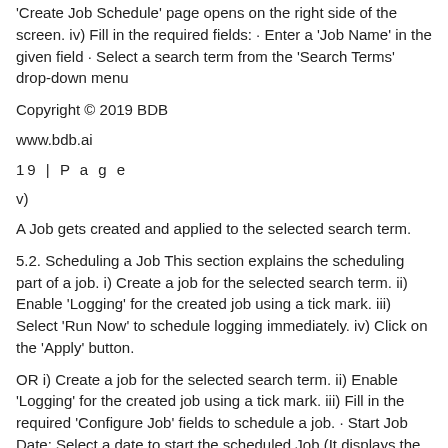'Create Job Schedule' page opens on the right side of the screen. iv) Fill in the required fields: · Enter a 'Job Name' in the given field · Select a search term from the 'Search Terms' drop-down menu
Copyright © 2019 BDB
www.bdb.ai
19 | P a g e
v)
A Job gets created and applied to the selected search term.
5.2. Scheduling a Job This section explains the scheduling part of a job. i) Create a job for the selected search term. ii) Enable 'Logging' for the created job using a tick mark. iii) Select 'Run Now' to schedule logging immediately. iv) Click on the 'Apply' button.
OR i) Create a job for the selected search term. ii) Enable 'Logging' for the created job using a tick mark. iii) Fill in the required 'Configure Job' fields to schedule a job. · Start Job Date: Select a date to start the scheduled Job (It displays the